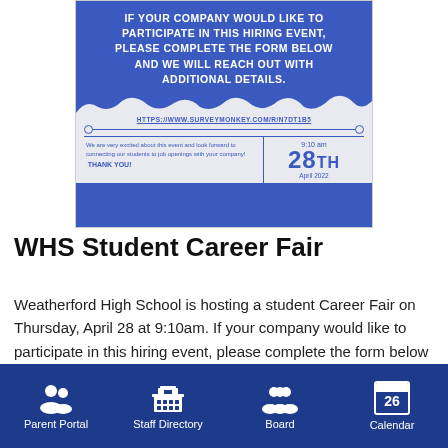[Figure (infographic): Blue flyer for WHS Student Career Fair. Text: IF YOUR COMPANY WOULD LIKE TO PARTICIPATE IN THIS HIRING EVENT, PLEASE COMPLETE THE FORM BELOW AND WE WILL REACH OUT WITH ADDITIONAL DETAILS. URL: HTTPS://WWW.SURVEYMONKEY.COM/R/N7DT1B5. Bottom section: left side says 'We are very excited about this event and look forward to connecting our students to job openings with your company! THANK YOU!' Right side shows '9:10 am', '28TH', 'April 2022'.]
WHS Student Career Fair
Weatherford High School is hosting a student Career Fair on Thursday, April 28 at 9:10am. If your company would like to participate in this hiring event, please complete the form below and we will reach out with
Parent Portal   Staff Directory   Board   Calendar